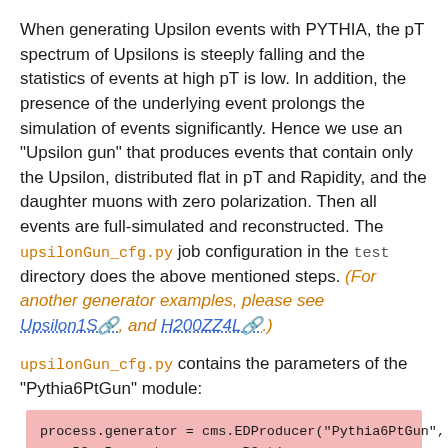When generating Upsilon events with PYTHIA, the pT spectrum of Upsilons is steeply falling and the statistics of events at high pT is low. In addition, the presence of the underlying event prolongs the simulation of events significantly. Hence we use an "Upsilon gun" that produces events that contain only the Upsilon, distributed flat in pT and Rapidity, and the daughter muons with zero polarization. Then all events are full-simulated and reconstructed. The upsilonGun_cfg.py job configuration in the test directory does the above mentioned steps. (For another generator examples, please see Upsilon1S, and H200ZZ4L.)
upsilonGun_cfg.py contains the parameters of the "Pythia6PtGun" module:
process.generator = cms.EDProducer("Pythia6PtGun",
    PGunParameters = cms.PSet(
        MinPhi = cms.double(-3.14159265359),
        MinPt = cms.double(0.0),
        ParticleID = cms.vint32(553),
        MaxRapidity = cms.double(2.0),
        MaxPhi = cms.double(3.14159265359),